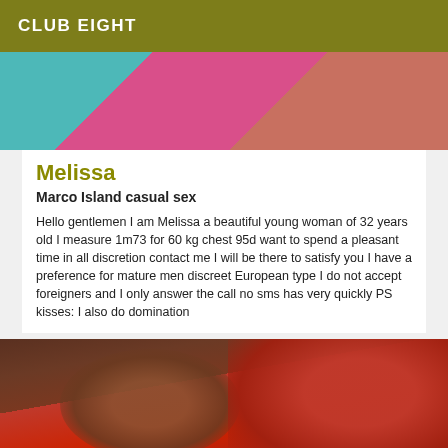CLUB EIGHT
[Figure (photo): Close-up photo of colorful fabric or yarn in teal, pink, and orange/red tones]
Melissa
Marco Island casual sex
Hello gentlemen I am Melissa a beautiful young woman of 32 years old I measure 1m73 for 60 kg chest 95d want to spend a pleasant time in all discretion contact me I will be there to satisfy you I have a preference for mature men discreet European type I do not accept foreigners and I only answer the call no sms has very quickly PS kisses: I also do domination
[Figure (photo): Photo of a person wearing red lingerie]